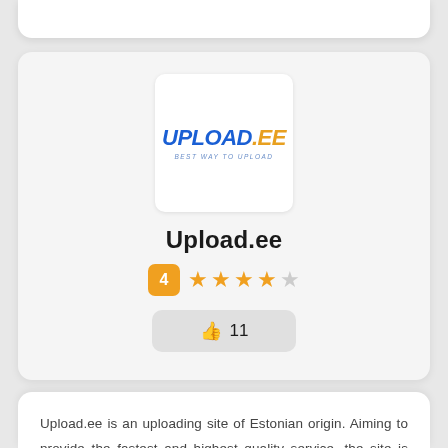[Figure (logo): Upload.ee logo: blue bold italic UPLOAD.EE text with tagline BEST WAY TO UPLOAD]
Upload.ee
4 ★★★★☆ 👍 11
Upload.ee is an uploading site of Estonian origin. Aiming to provide the fastest and highest quality service, the site is trying to provide the highest standard to its users. Supported by many large